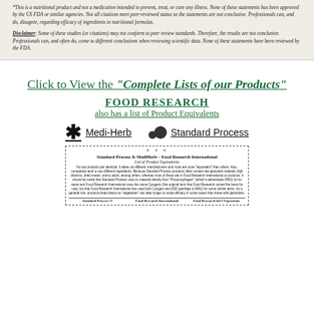*This is a nutritional product and not a medication intended to prevent, treat, or cure any illness. None of these statements has been approved by the US FDA or similar agencies. Not all citations meet peer-reviewed status so the statements are not conclusive. Professionals can, and do, disagree, regarding efficacy of ingredients in nutritional formulas.
Disclaimer: Some of these studies (or citations) may not conform to peer review standards. Therefore, the results are not conclusive. Professionals can, and often do, come to different conclusions when reviewing scientific data. None of these statements have been reviewed by the FDA.
Click to View the "Complete Lists of our Products"
FOOD RESEARCH also has a list of Product Equivalents
* Medi-Herb   Standard Process
[Figure (other): Thumbnail image of a document titled 'Standard Process & MediHerb – Food Research International List of Product Equivalents' with small body text and column headers for Standard Process, Food Research International, and Food Research Int'l Vegetarian.]